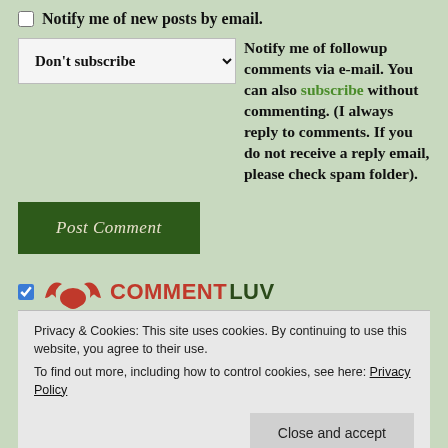Notify me of new posts by email.
Don't subscribe [dropdown] Notify me of followup comments via e-mail. You can also subscribe without commenting. (I always reply to comments. If you do not receive a reply email, please check spam folder).
Post Comment
[Figure (logo): CommentLuv logo with red bird/wings icon and COMMENTLUV text in red and dark green]
This site uses Akismet to reduce spam. Learn how your
Privacy & Cookies: This site uses cookies. By continuing to use this website, you agree to their use. To find out more, including how to control cookies, see here: Privacy Policy
Close and accept